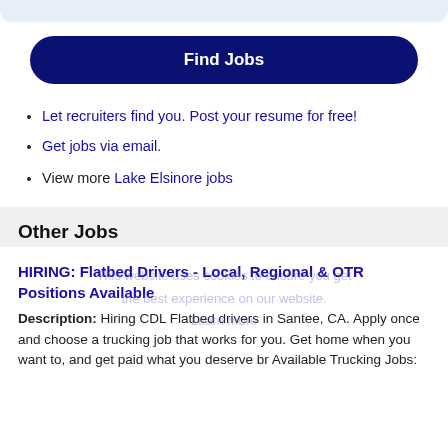Let recruiters find you. Post your resume for free!
Get jobs via email.
View more Lake Elsinore jobs
Other Jobs
This website uses cookies to ensure you get the best experience on our website. Learn more
HIRING: Flatbed Drivers - Local, Regional & OTR Positions Available
Description: Hiring CDL Flatbed drivers in Santee, CA. Apply once and choose a trucking job that works for you. Get home when you want to, and get paid what you deserve br Available Trucking Jobs: